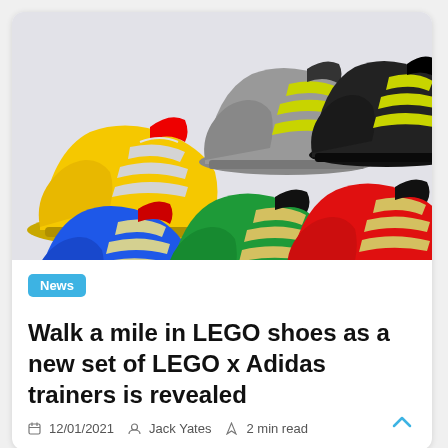[Figure (photo): Collage of five LEGO x Adidas ZX 8000 trainer shoes in yellow, grey, black, blue, green, and red colorways against a light grey background.]
News
Walk a mile in LEGO shoes as a new set of LEGO x Adidas trainers is revealed
12/01/2021  Jack Yates  2 min read